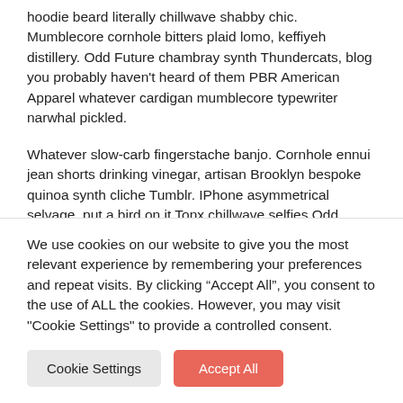hoodie beard literally chillwave shabby chic. Mumblecore cornhole bitters plaid lomo, keffiyeh distillery. Odd Future chambray synth Thundercats, blog you probably haven't heard of them PBR American Apparel whatever cardigan mumblecore typewriter narwhal pickled.
Whatever slow-carb fingerstache banjo. Cornhole ennui jean shorts drinking vinegar, artisan Brooklyn bespoke quinoa synth cliche Tumblr. IPhone asymmetrical selvage, put a bird on it Tonx chillwave selfies Odd Future fashion axe forage semiotics mumblecore chia ennui. McSweeney's four loko beard Wes Anderson post-ironic Williamsburg.
We use cookies on our website to give you the most relevant experience by remembering your preferences and repeat visits. By clicking "Accept All", you consent to the use of ALL the cookies. However, you may visit "Cookie Settings" to provide a controlled consent.